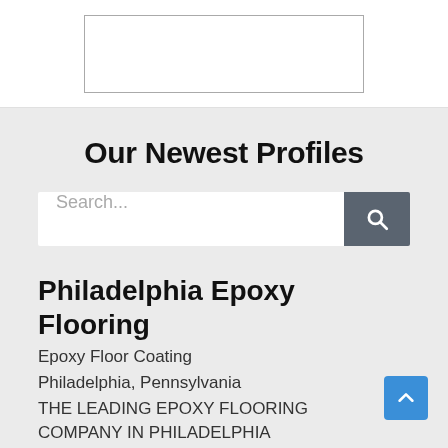[Figure (other): White rectangular image placeholder with thin border at top of page]
Our Newest Profiles
[Figure (other): Search bar with text input placeholder 'Search...' and a dark gray search button with magnifying glass icon]
Philadelphia Epoxy Flooring
Epoxy Floor Coating
Philadelphia, Pennsylvania
THE LEADING EPOXY FLOORING COMPANY IN PHILADELPHIA